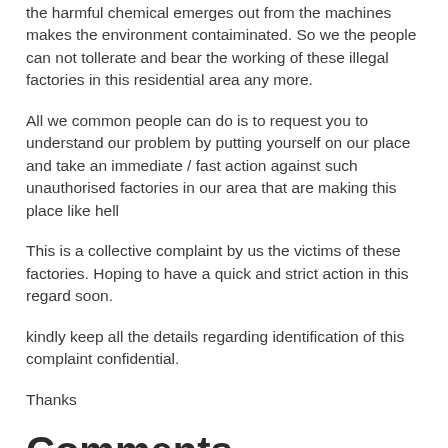the harmful chemical emerges out from the machines makes the environment contaiminated. So we the people can not tollerate and bear the working of these illegal factories in this residential area any more.
All we common people can do is to request you to understand our problem by putting yourself on our place and take an immediate / fast action against such unauthorised factories in our area that are making this place like hell
This is a collective complaint by us the victims of these factories. Hoping to have a quick and strict action in this regard soon.
kindly keep all the details regarding identification of this complaint confidential.
Thanks
Comments